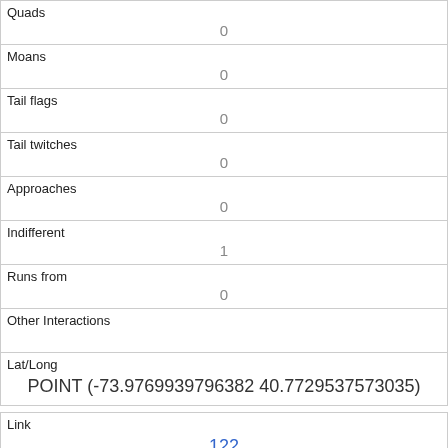| Quads | 0 |
| Moans | 0 |
| Tail flags | 0 |
| Tail twitches | 0 |
| Approaches | 0 |
| Indifferent | 1 |
| Runs from | 0 |
| Other Interactions |  |
| Lat/Long | POINT (-73.9769939796382 40.7729537573035) |
| Link | 122 |